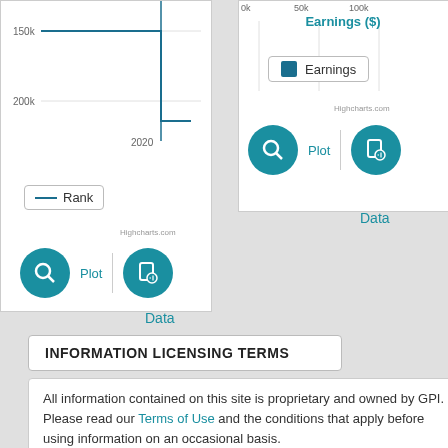[Figure (line-chart): Left chart panel showing rank over time around 2020, with y-axis labels 150k and 200k]
[Figure (bar-chart): Right chart panel showing earnings in dollars with legend showing Earnings]
INFORMATION LICENSING TERMS
All information contained on this site is proprietary and owned by GPI. Please read our Terms of Use and the conditions that apply before using information on an occasional basis. For regular use of any of the information, please contact us at gpi@zokay. regarding our licensing terms.